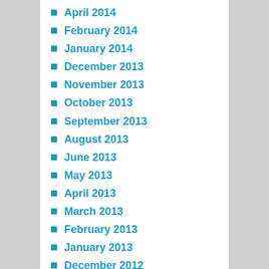April 2014
February 2014
January 2014
December 2013
November 2013
October 2013
September 2013
August 2013
June 2013
May 2013
April 2013
March 2013
February 2013
January 2013
December 2012
October 2012
September 2012
August 2012
July 2012
May 2012
April 2012